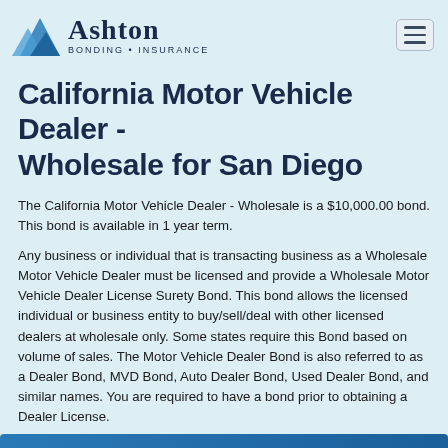Ashton Bonding • Insurance
California Motor Vehicle Dealer - Wholesale for San Diego
The California Motor Vehicle Dealer - Wholesale is a $10,000.00 bond. This bond is available in 1 year term.
Any business or individual that is transacting business as a Wholesale Motor Vehicle Dealer must be licensed and provide a Wholesale Motor Vehicle Dealer License Surety Bond. This bond allows the licensed individual or business entity to buy/sell/deal with other licensed dealers at wholesale only. Some states require this Bond based on volume of sales. The Motor Vehicle Dealer Bond is also referred to as a Dealer Bond, MVD Bond, Auto Dealer Bond, Used Dealer Bond, and similar names. You are required to have a bond prior to obtaining a Dealer License.
You must sell 23 cars or less per year to use this bond.